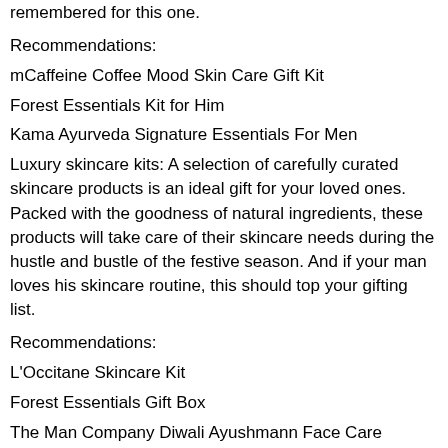remembered for this one.
Recommendations:
mCaffeine Coffee Mood Skin Care Gift Kit
Forest Essentials Kit for Him
Kama Ayurveda Signature Essentials For Men
Luxury skincare kits: A selection of carefully curated skincare products is an ideal gift for your loved ones. Packed with the goodness of natural ingredients, these products will take care of their skincare needs during the hustle and bustle of the festive season. And if your man loves his skincare routine, this should top your gifting list.
Recommendations:
L'Occitane Skincare Kit
Forest Essentials Gift Box
The Man Company Diwali Ayushmann Face Care